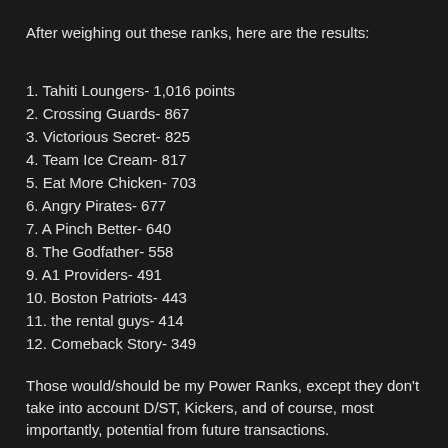After weighing out these ranks, here are the results:
1. Tahiti Loungers- 1,016 points
2. Crossing Guards- 867
3. Victorious Secret- 825
4. Team Ice Cream- 817
5. Eat More Chicken- 703
6. Angry Pirates- 677
7. A Pinch Better- 640
8. The Godfather- 558
9. A1 Providers- 491
10. Boston Patriots- 443
11. the rental guys- 414
12. Comeback Story- 349
Those would/should be my Power Ranks, except they don't take into account D/ST, Kickers, and of course, most importantly, potential from future transactions.